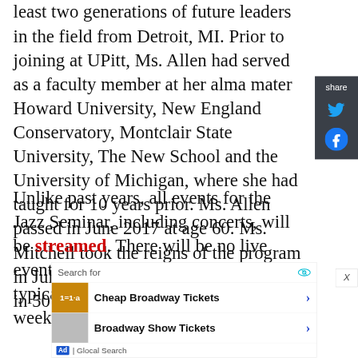least two generations of future leaders in the field from Detroit, MI. Prior to joining at UPitt, Ms. Allen had served as a faculty member at her alma mater Howard University, New England Conservatory, Montclair State University, The New School and the University of Michigan, where she had taught for 10 years prior. Ms. Allen passed in June 2017 at age 60. Ms. Mitchell took the reigns of the program in July 2019, as only its third director in 50 years.
Unlike past years, all events for the Jazz Seminar, including concerts, will be streamed. There will be no live events at Carnegie Music Hall, typically the crown jewel of the weeklong event. Mrs. Mitchell
[Figure (screenshot): Share bar on the right side with Twitter and Facebook icons]
[Figure (screenshot): Advertisement box with search bar, Cheap Broadway Tickets and Broadway Show Tickets listings from Glocal Search]